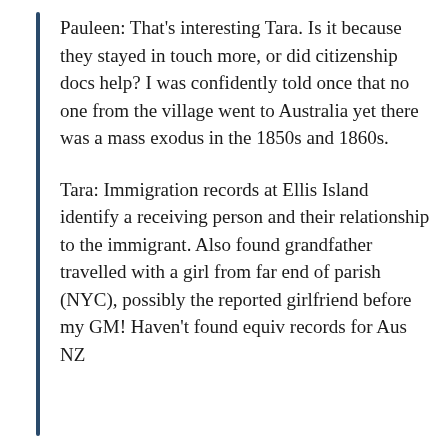Pauleen: That's interesting Tara. Is it because they stayed in touch more, or did citizenship docs help? I was confidently told once that no one from the village went to Australia yet there was a mass exodus in the 1850s and 1860s.
Tara: Immigration records at Ellis Island identify a receiving person and their relationship to the immigrant. Also found grandfather travelled with a girl from far end of parish (NYC), possibly the reported girlfriend before my GM! Haven't found equiv records for Aus NZ